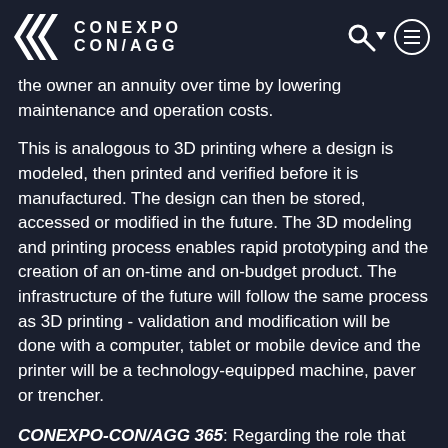CONEXPO CON/AGG
the owner an annuity over time by lowering maintenance and operation costs.
This is analogous to 3D printing where a design is modeled, then printed and verified before it is manufactured. The design can then be stored, accessed or modified in the future. The 3D modeling and printing process enables rapid prototyping and the creation of an on-time and on-budget product. The infrastructure of the future will follow the same process as 3D printing - validation and modification will be done with a computer, tablet or mobile device and the printer will be a technology-equipped machine, paver or trencher.
CONEXPO-CON/AGG 365: Regarding the role that technology is going to play in infrastructure